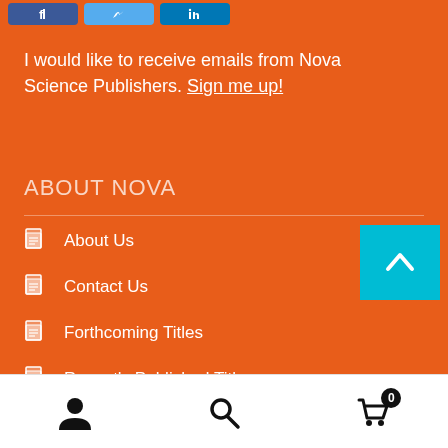[Figure (screenshot): Social media share buttons (Facebook, Twitter, LinkedIn) in orange header area]
I would like to receive emails from Nova Science Publishers. Sign me up!
ABOUT NOVA
About Us
Contact Us
Forthcoming Titles
Recently Published Titles
[Figure (infographic): Bottom navigation bar with user icon, search icon, and cart icon with badge count 0]